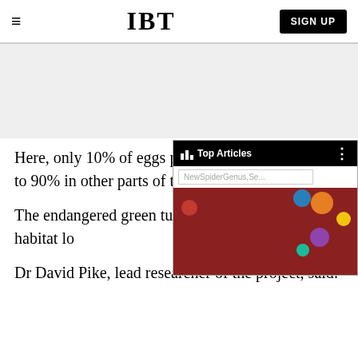IBT | SIGN UP
[Figure (screenshot): Gray advertisement placeholder area]
Here, only 10% of eggs produce turtles, compared to 90% in other parts of the
[Figure (screenshot): Popup overlay showing 'Top Articles' bar with 'NewSpiderGenus,Se...' URL and a colorful image of a face with space bubbles background (David Bowie-like)]
The endangered green turtle under threat from habitat lo
Dr David Pike, lead researcher of the project, said: